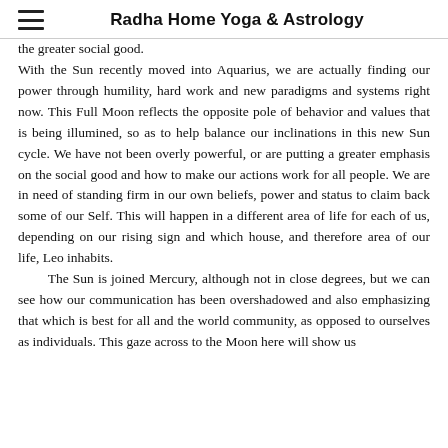Radha Home Yoga & Astrology
the greater social good. With the Sun recently moved into Aquarius, we are actually finding our power through humility, hard work and new paradigms and systems right now. This Full Moon reflects the opposite pole of behavior and values that is being illumined, so as to help balance our inclinations in this new Sun cycle. We have not been overly powerful, or are putting a greater emphasis on the social good and how to make our actions work for all people. We are in need of standing firm in our own beliefs, power and status to claim back some of our Self. This will happen in a different area of life for each of us, depending on our rising sign and which house, and therefore area of our life, Leo inhabits. The Sun is joined Mercury, although not in close degrees, but we can see how our communication has been overshadowed and also emphasizing that which is best for all and the world community, as opposed to ourselves as individuals. This gaze across to the Moon here will show us